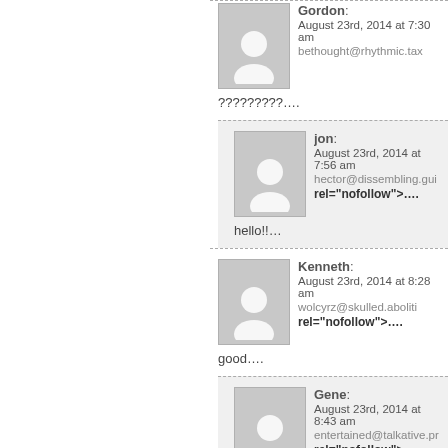Gordon: August 23rd, 2014 at 7:30 am bethought@rhythmic.tax ?????????....
jon: August 23rd, 2014 at 7:56 am hector@dissembling.gui rel="nofollow">.... hello!!…
Kenneth: August 23rd, 2014 at 8:28 am wolcyrz@skulled.aboliti rel="nofollow">.... good....
Gene: August 23rd, 2014 at 8:43 am entertained@talkative.pr rel="nofollow">.... tnx for info!!…